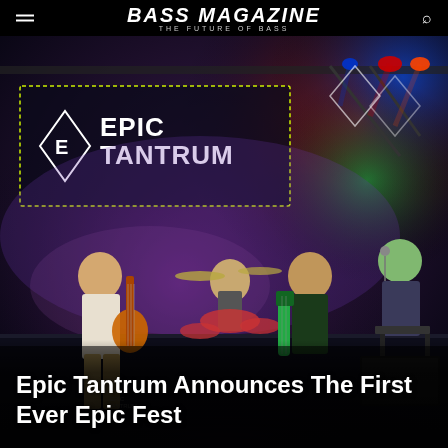BASS MAGAZINE THE FUTURE OF BASS
[Figure (photo): Epic Tantrum band performing live on stage with colorful stage lighting. Band logo visible in background with dotted border. Guitarist on left in white shirt playing orange guitar, drummer in center background, bassist in dark shirt playing green bass guitar center stage, vocalist/keyboardist on far right lit in green light with Marshall amp visible.]
Epic Tantrum Announces The First Ever Epic Fest